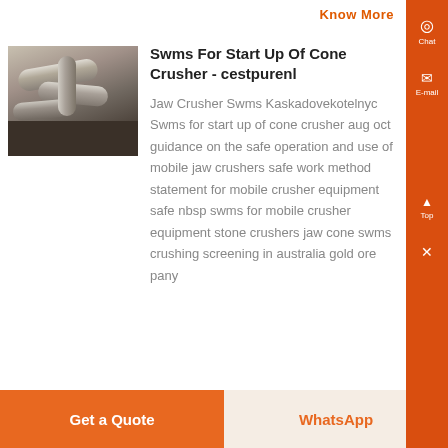Know More
[Figure (photo): Photo of industrial pipes and machinery components, showing metallic curved tubes and dark industrial background]
Swms For Start Up Of Cone Crusher - cestpurenl
Jaw Crusher Swms Kaskadovekotelnyc Swms for start up of cone crusher aug oct guidance on the safe operation and use of mobile jaw crushers safe work method statement for mobile crusher equipment safe nbsp swms for mobile crusher equipment stone crushers jaw cone swms crushing screening in australia gold ore pany
Get a Quote   WhatsApp